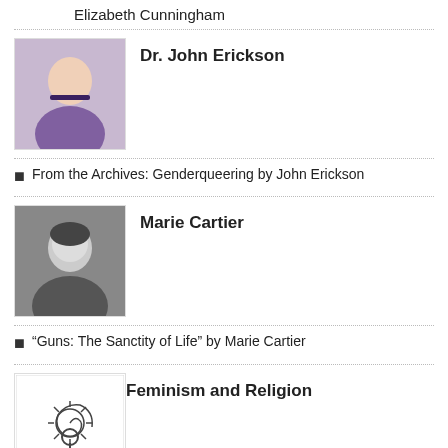Elizabeth Cunningham
Dr. John Erickson
From the Archives: Genderqueering by John Erickson
Marie Cartier
“Guns: The Sanctity of Life” by Marie Cartier
Feminism and Religion
WordPress Alert – UPDATED
Guest Contributor
Woman of the Isle of Women by Annelinde Metzner
Grace Yia-Hei Kao